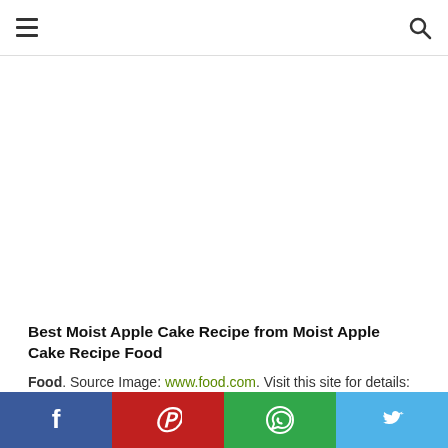Navigation header with hamburger menu and search icon
[Figure (other): White blank advertisement area]
Best Moist Apple Cake Recipe from Moist Apple Cake Recipe Food
Source Image: www.food.com. Visit this site for details: www.food.com
Social share bar: Facebook, Pinterest, WhatsApp, Twitter